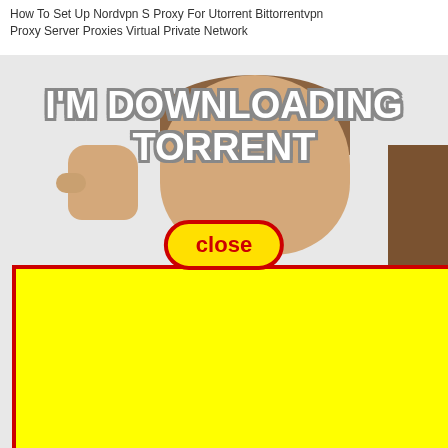How To Set Up Nordvpn S Proxy For Utorrent Bittorrentvpn Proxy Server Proxies Virtual Private Network
[Figure (illustration): Internet meme image of a boy with raised fist and bold white Impact text reading 'I'M DOWNLOADING TORRENT', a yellow oval 'close' button overlay with red border, and a large yellow rectangle with red border covering the lower half of the image. Partial text visible at the very bottom.]